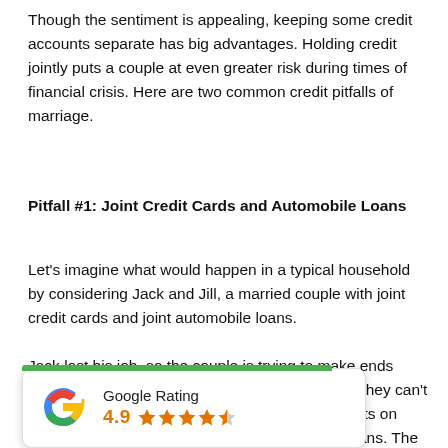Though the sentiment is appealing, keeping some credit accounts separate has big advantages. Holding credit jointly puts a couple at even greater risk during times of financial crisis. Here are two common credit pitfalls of marriage.
Pitfall #1: Joint Credit Cards and Automobile Loans
Let's imagine what would happen in a typical household by considering Jack and Jill, a married couple with joint credit cards and joint automobile loans.
Jack lost his job, so the couple is trying to make ends meet. After a couple of months, they start to find they can't afford all of their bills. They start missing payments on several credit cards and on one of the two car loans. The credit card bills are sent to collection...